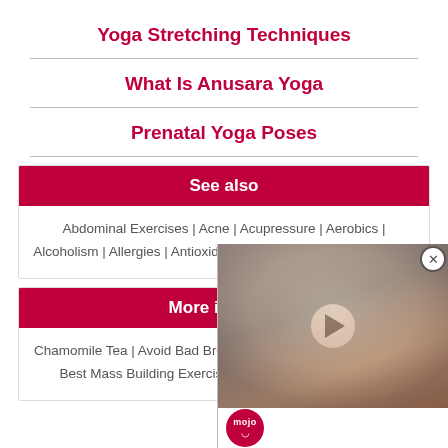Yoga Stretching Techniques
What Is Anusara Yoga
Prenatal Yoga Poses
See also
Abdominal Exercises | Acne | Acupressure | Aerobics | Alcoholism | Allergies | Antioxidants | Aromatherapy | Arthritis | A…
More in 'Healt…
Chamomile Tea | Avoid Bad Breath | Remedies For Dry Cough | Best Mass Building Exercises | Benefits Of Mushrooms
[Figure (photo): Video thumbnail showing a woman with long hair, with a play button overlay and mojo logo watermark]